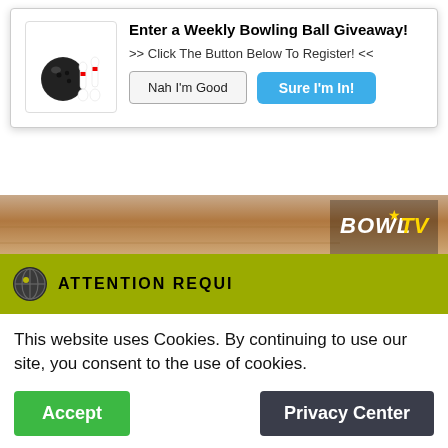[Figure (screenshot): Popup dialog for Weekly Bowling Ball Giveaway with bowling ball and pins icon, title text, subtitle, and two buttons: 'Nah I'm Good' and 'Sure I'm In!']
[Figure (screenshot): Bowling alley lane image strip with BowlTV logo text]
[Figure (screenshot): Video thumbnail showing BowlTV logo and title '2013 USBC Open Championship...' with dark bowling alley lanes in background]
[Figure (screenshot): Cookie consent banner with globe icon, 'ATTENTION REQUIRED' header bar in olive/yellow-green, cookie message text, and two buttons: 'Accept' and 'Privacy Center']